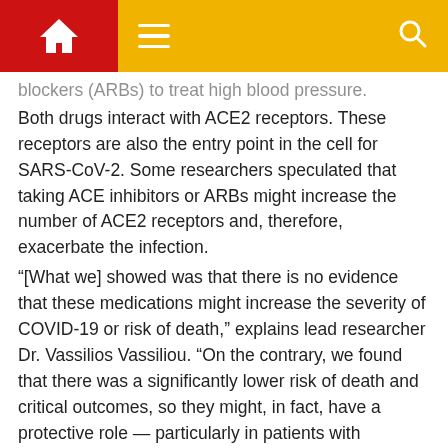[Navigation bar with home icon, menu icon, and search icon]
blockers (ARBs) to treat high blood pressure.
Both drugs interact with ACE2 receptors. These receptors are also the entry point in the cell for SARS-CoV-2. Some researchers speculated that taking ACE inhibitors or ARBs might increase the number of ACE2 receptors and, therefore, exacerbate the infection.
“[What we] showed was that there is no evidence that these medications might increase the severity of COVID-19 or risk of death,” explains lead researcher Dr. Vassilios Vassiliou. “On the contrary, we found that there was a significantly lower risk of death and critical outcomes, so they might, in fact, have a protective role — particularly in patients with hypertension.”
Read our full coverage of the study here.
08/28/2020 15:00 GMT — Scientists reveal specific order of COVID-19 symptomsMNT reported on new research